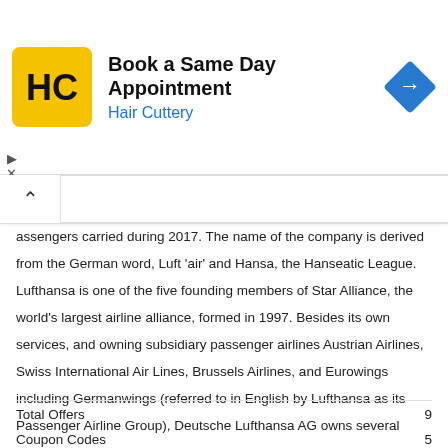[Figure (screenshot): Hair Cuttery advertisement banner with yellow HC logo, title 'Book a Same Day Appointment', subtitle 'Hair Cuttery', and a blue diamond navigation arrow icon]
assengers carried during 2017. The name of the company is derived from the German word, Luft 'air' and Hansa, the Hanseatic League. Lufthansa is one of the five founding members of Star Alliance, the world's largest airline alliance, formed in 1997. Besides its own services, and owning subsidiary passenger airlines Austrian Airlines, Swiss International Air Lines, Brussels Airlines, and Eurowings including Germanwings (referred to in English by Lufthansa as its Passenger Airline Group), Deutsche Lufthansa AG owns several aviation-related companies, such as Lufthansa Technik, as part of the Lufthansa Group. In total, the group has over 600 aircraft, making it one of the largest airline fleets in the world. Lufthansa's registered office and corporate headquarters are in Cologne. The main operations base, called Lufthansa Aviation Center, is at Lufthansa's primary hub at Frankfurt Airport, and its secondary hub is at Munich Airport.
Total Offers	9
Coupon Codes	5